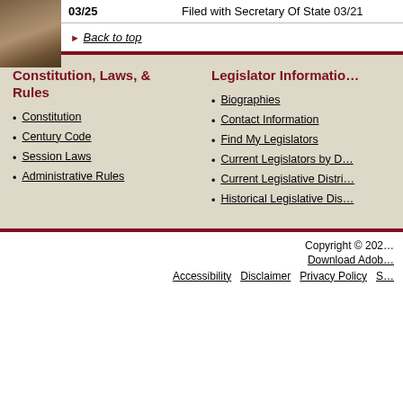| Date | Status |
| --- | --- |
| 03/25 | Filed with Secretary Of State 03/21 |
Back to top
Constitution, Laws, & Rules
Constitution
Century Code
Session Laws
Administrative Rules
Legislator Information
Biographies
Contact Information
Find My Legislators
Current Legislators by D...
Current Legislative Distri...
Historical Legislative Dis...
Copyright © 202... | Download Adob... | Accessibility | Disclaimer | Privacy Policy | S...